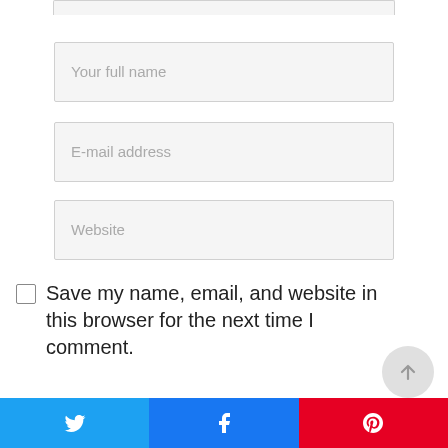[Figure (screenshot): Partial top form field (cropped at top of page)]
Your full name
E-mail address
Website
Save my name, email, and website in this browser for the next time I comment.
Notify me of followup comments
[Figure (other): Scroll-to-top button (circular arrow up icon)]
[Figure (other): Social share bar with Twitter, Facebook, and Pinterest buttons at the bottom]